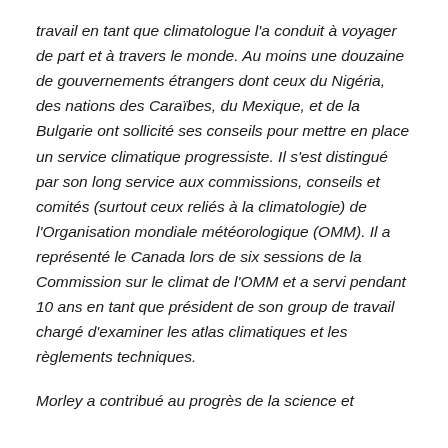travail en tant que climatologue l'a conduit à voyager de part et à travers le monde. Au moins une douzaine de gouvernements étrangers dont ceux du Nigéria, des nations des Caraïbes, du Mexique, et de la Bulgarie ont sollicité ses conseils pour mettre en place un service climatique progressiste. Il s'est distingué par son long service aux commissions, conseils et comités (surtout ceux reliés à la climatologie) de l'Organisation mondiale météorologique (OMM). Il a représenté le Canada lors de six sessions de la Commission sur le climat de l'OMM et a servi pendant 10 ans en tant que président de son group de travail chargé d'examiner les atlas climatiques et les règlements techniques.
Morley a contribué au progrès de la science et